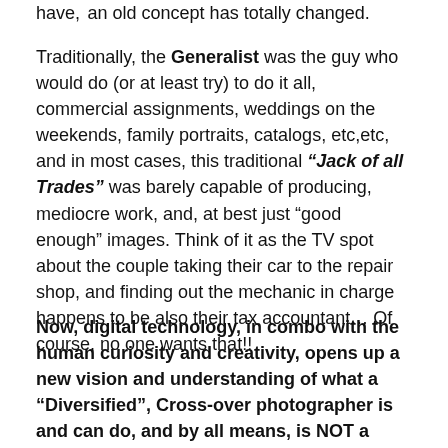have, an old concept has totally changed.
Traditionally, the Generalist was the guy who would do (or at least try) to do it all, commercial assignments, weddings on the weekends, family portraits, catalogs, etc,etc, and in most cases, this traditional “Jack of all Trades” was barely capable of producing, mediocre work, and, at best just “good enough” images. Think of it as the TV spot about the couple taking their car to the repair shop, and finding out the mechanic in charge happens to be also their tax accountant… Of course, no one wants that!!
Now, digital technology, in combo with the human curiosity and creativity, opens up a new vision and understanding of what a “Diversified”, Cross-over photographer is and can do, and by all means, is NOT a Generalist no more.